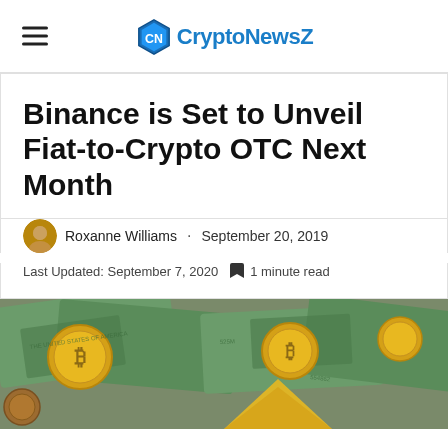CryptoNewsZ
Binance is Set to Unveil Fiat-to-Crypto OTC Next Month
Roxanne Williams · September 20, 2019
Last Updated: September 7, 2020 1 minute read
[Figure (photo): Photo of gold Bitcoin coins and US dollar bills scattered on a surface, with a golden triangle/pyramid shape visible]